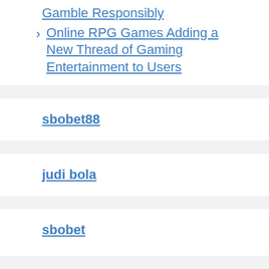Gamble Responsibly
Online RPG Games Adding a New Thread of Gaming Entertainment to Users
sbobet88
judi bola
sbobet